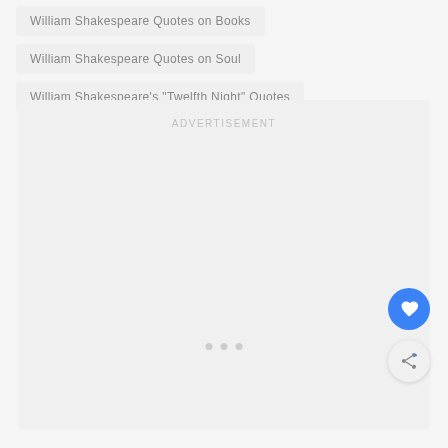William Shakespeare Quotes on Books
William Shakespeare Quotes on Soul
William Shakespeare's "Twelfth Night" Quotes
ADVERTISEMENT
[Figure (other): Advertisement placeholder area with three loading dots at center-bottom]